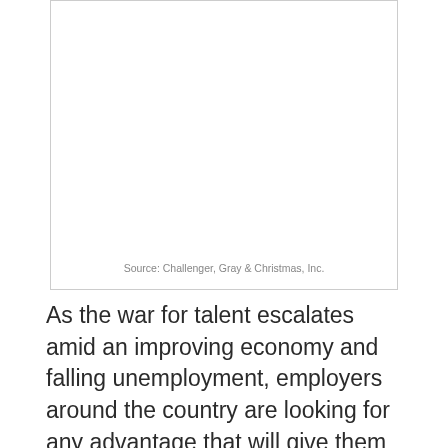[Figure (other): Empty chart area with border, likely a cut-off graph or figure from the document above]
Source: Challenger, Gray & Christmas, Inc.
As the war for talent escalates amid an improving economy and falling unemployment, employers around the country are looking for any advantage that will give them the upper hand in finding and